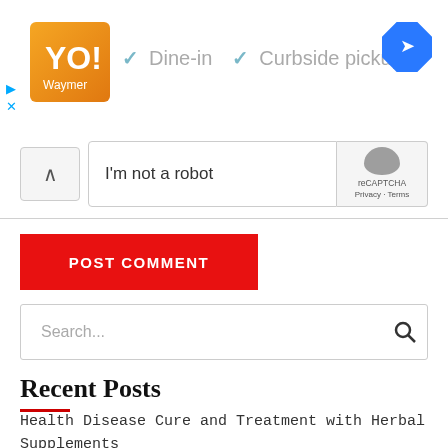[Figure (screenshot): Ad banner with restaurant logo, Dine-in and Curbside pickup checkmarks, and navigation icon]
[Figure (screenshot): reCAPTCHA widget with I'm not a robot checkbox, reCAPTCHA logo, Privacy and Terms links]
POST COMMENT
Search...
Recent Posts
Health Disease Cure and Treatment with Herbal Supplements
Common Eye Diseases and their Treatment by Using Herbal Supplements